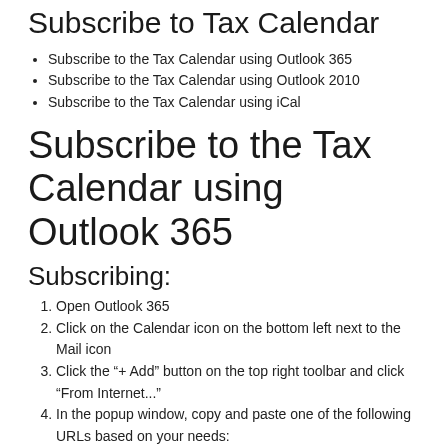Subscribe to Tax Calendar
Subscribe to the Tax Calendar using Outlook 365
Subscribe to the Tax Calendar using Outlook 2010
Subscribe to the Tax Calendar using iCal
Subscribe to the Tax Calendar using Outlook 365
Subscribing:
Open Outlook 365
Click on the Calendar icon on the bottom left next to the Mail icon
Click the “+ Add” button on the top right toolbar and click “From Internet...”
In the popup window, copy and paste one of the following URLs based on your needs: